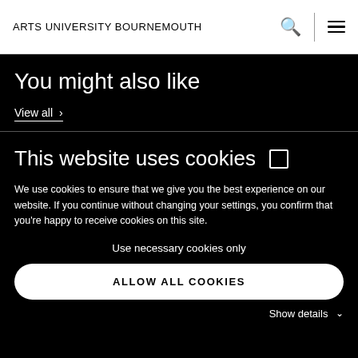ARTS UNIVERSITY BOURNEMOUTH
You might also like
View all >
This website uses cookies ☐
We use cookies to ensure that we give you the best experience on our website. If you continue without changing your settings, you confirm that you're happy to receive cookies on this site.
Use necessary cookies only
ALLOW ALL COOKIES
Show details